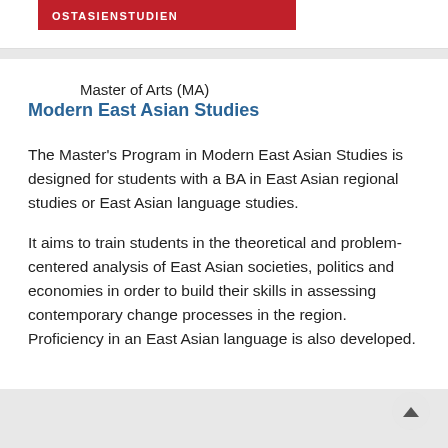[Figure (logo): Red banner with white bold text reading OSTASIENSTUDIEN]
Master of Arts (MA)
Modern East Asian Studies
The Master's Program in Modern East Asian Studies is designed for students with a BA in East Asian regional studies or East Asian language studies.
It aims to train students in the theoretical and problem-centered analysis of East Asian societies, politics and economies in order to build their skills in assessing contemporary change processes in the region. Proficiency in an East Asian language is also developed.